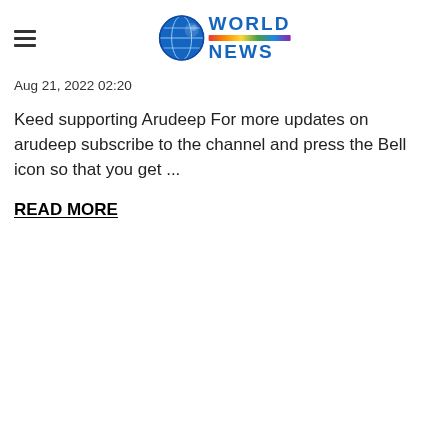WORLD NEWS (logo with globe)
Aug 21, 2022 02:20
Keed supporting Arudeep For more updates on arudeep subscribe to the channel and press the Bell icon so that you get ...
READ MORE